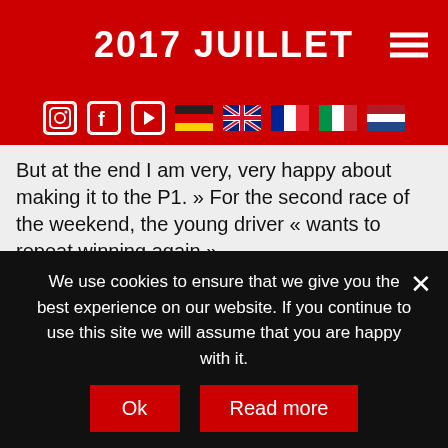2017 JUILLET
[Figure (screenshot): Navigation bar with social media icons (Instagram, Facebook, YouTube) and country flag icons (Germany, UK, France, Italy, Netherlands) on red background]
But at the end I am very, very happy about making it to the P1. » For the second race of the weekend, the young driver « wants to repeat winning again ».
It's the same for Salvatore De Plano, who wants to attack for the top-position of the podium: « Of course I am very, very happy with finishing as second. It was such a close race, I was directly behind Raghunathan. At the second race on Sunday I will attack again for making it to the P1 », the
We use cookies to ensure that we give you the best experience on our website. If you continue to use this site we will assume that you are happy with it.